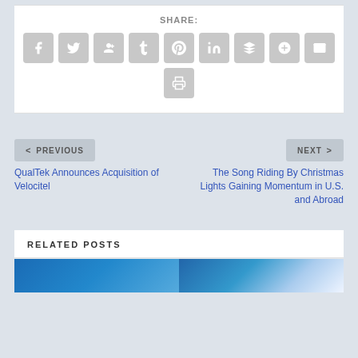SHARE:
[Figure (infographic): Social share buttons: Facebook, Twitter, Google+, Tumblr, Pinterest, LinkedIn, Buffer, StumbleUpon, Email, Print]
< PREVIOUS
NEXT >
QualTek Announces Acquisition of Velocitel
The Song Riding By Christmas Lights Gaining Momentum in U.S. and Abroad
RELATED POSTS
[Figure (photo): Two related post thumbnail images side by side]